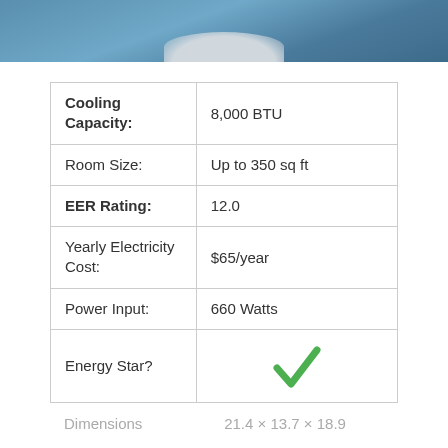[Figure (photo): Blue product photo strip showing top portion of an air conditioner unit]
| Specification | Value |
| --- | --- |
| Cooling Capacity: | 8,000 BTU |
| Room Size: | Up to 350 sq ft |
| EER Rating: | 12.0 |
| Yearly Electricity Cost: | $65/year |
| Power Input: | 660 Watts |
| Energy Star? | ✓ |
Dimensions    21.4 × 13.7 × 18.9